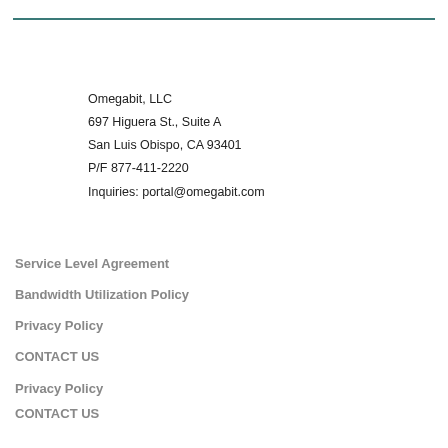Omegabit, LLC
697 Higuera St., Suite A
San Luis Obispo, CA 93401
P/F 877-411-2220
Inquiries: portal@omegabit.com
Service Level Agreement
Bandwidth Utilization Policy
Privacy Policy
CONTACT US
Privacy Policy
CONTACT US